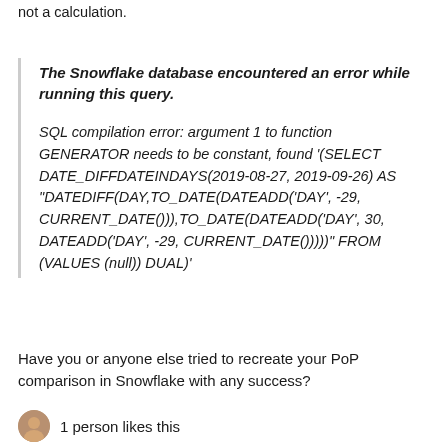not a calculation.
The Snowflake database encountered an error while running this query.

SQL compilation error: argument 1 to function GENERATOR needs to be constant, found '(SELECT DATE_DIFFDATEINDAYS(2019-08-27, 2019-09-26) AS "DATEDIFF(DAY,TO_DATE(DATEADD('DAY', -29, CURRENT_DATE())),TO_DATE(DATEADD('DAY', 30, DATEADD('DAY', -29, CURRENT_DATE()))))" FROM (VALUES (null)) DUAL)'
Have you or anyone else tried to recreate your PoP comparison in Snowflake with any success?
1 person likes this